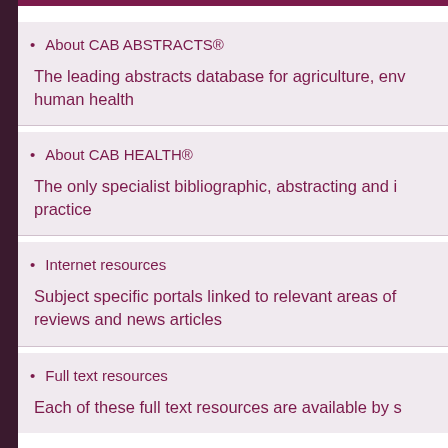About CAB ABSTRACTS®
The leading abstracts database for agriculture, env… human health
About CAB HEALTH®
The only specialist bibliographic, abstracting and i… practice
Internet resources
Subject specific portals linked to relevant areas of… reviews and news articles
Full text resources
Each of these full text resources are available by s…